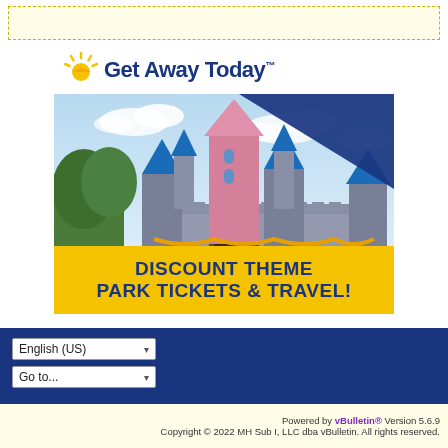[Figure (other): Yellow banner advertisement area at top of page]
[Figure (illustration): Get Away Today advertisement featuring logo with sun icon and Disneyland castle photo with text DISCOUNT THEME PARK TICKETS & TRAVEL!]
English (US)
Go to...
Powered by vBulletin® Version 5.6.9
Copyright © 2022 MH Sub I, LLC dba vBulletin. All rights reserved.